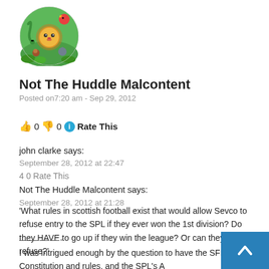[Figure (illustration): Circular avatar image with colorful cartoon jungle animals including a lion, snake, and other animals on a green background]
Not The Huddle Malcontent
Posted on7:20 am - Sep 29, 2012
👍 0 👎 0 ℹ Rate This
john clarke says:
September 28, 2012 at 22:47
4 0 Rate This
Not The Huddle Malcontent says:
September 28, 2012 at 21:28
'What rules in scottish football exist that would allow Sevco to refuse entry to the SPL if they ever won the 1st division? Do they HAVE to go up if they win the league? Or can they refuse?'
————-
I was intrigued enough by the question to have the SFL Constitution and rules, and the SPL's A